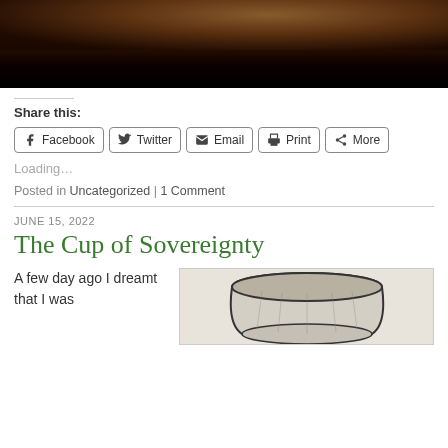[Figure (photo): Dark brown/black textured surface, appears to be soil or dark material, partially cropped at top of page]
Share this:
Facebook | Twitter | Email | Print | More
Loading...
Posted in Uncategorized | 1 Comment
JUNE 15, 2022
The Cup of Sovereignty
A few day ago I dreamt that I was
[Figure (illustration): Black and white illustration of a wide, shallow cup or bowl, drawn in a vintage engraving style]